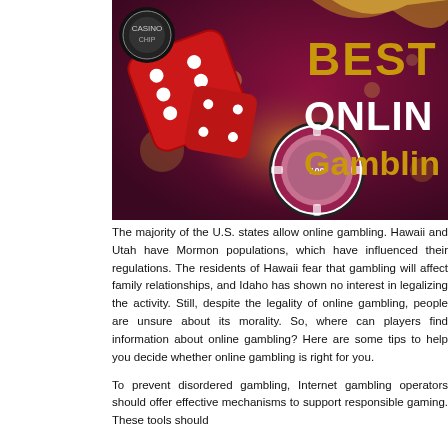[Figure (photo): Casino-themed image with red dice, poker chips on a dark maroon background with golden bokeh lights. Large text overlay reads 'BEST ONLINE Gambling' in gold and white. A casino chip logo is visible in the top left.]
The majority of the U.S. states allow online gambling. Hawaii and Utah have Mormon populations, which have influenced their regulations. The residents of Hawaii fear that gambling will affect family relationships, and Idaho has shown no interest in legalizing the activity. Still, despite the legality of online gambling, people are unsure about its morality. So, where can players find information about online gambling? Here are some tips to help you decide whether online gambling is right for you.
To prevent disordered gambling, Internet gambling operators should offer effective mechanisms to support responsible gaming. These tools should...